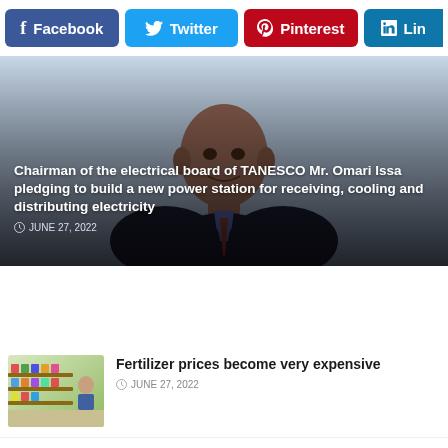[Figure (infographic): Social media share buttons row: Facebook (blue), Twitter (cyan), Pinterest (red), LinkedIn (teal, partial)]
[Figure (photo): Photo of Chairman of the electrical board of TANESCO Mr. Omari Issa, a man in a dark suit, against a light blue-grey background]
Chairman of the electrical board of TANESCO Mr. Omari Issa pledging to build a new power station for receiving, cooling and distributing electricity
JUNE 27, 2022
[Figure (photo): Thumbnail photo of a store/supermarket aisle with colorful product shelves]
Fertilizer prices become very expensive
JUNE 27, 2022
[Figure (photo): Thumbnail photo of a person (Boris Johnson) in front of what appears to be flag imagery]
The people in UK want Prime Minister Boris to resign
JUNE 27, 2022